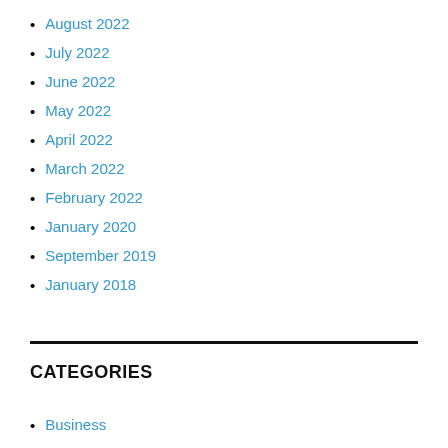August 2022
July 2022
June 2022
May 2022
April 2022
March 2022
February 2022
January 2020
September 2019
January 2018
CATEGORIES
Business